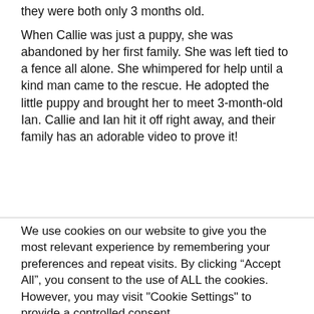they were both only 3 months old.
When Callie was just a puppy, she was abandoned by her first family. She was left tied to a fence all alone. She whimpered for help until a kind man came to the rescue. He adopted the little puppy and brought her to meet 3-month-old Ian. Callie and Ian hit it off right away, and their family has an adorable video to prove it!
We use cookies on our website to give you the most relevant experience by remembering your preferences and repeat visits. By clicking “Accept All”, you consent to the use of ALL the cookies. However, you may visit "Cookie Settings" to provide a controlled consent.